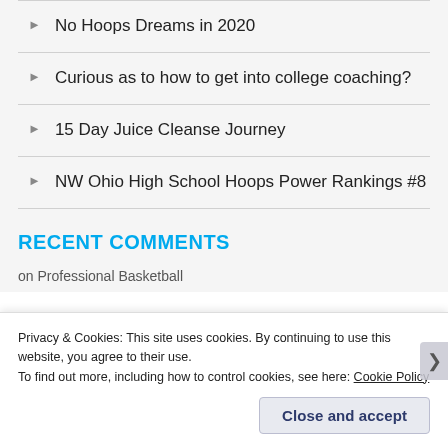No Hoops Dreams in 2020
Curious as to how to get into college coaching?
15 Day Juice Cleanse Journey
NW Ohio High School Hoops Power Rankings #8
RECENT COMMENTS
Privacy & Cookies: This site uses cookies. By continuing to use this website, you agree to their use.
To find out more, including how to control cookies, see here: Cookie Policy
Close and accept